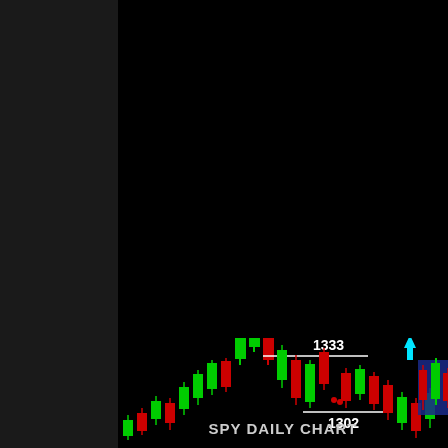[Figure (continuous-plot): Top portion of a financial candlestick chart (hourly) showing red and green candles with a 20 Hour Moving Average annotation with cyan arrow pointing up and a red banner reading 'PRICE HAS CLOSED ABOVE 20 HOUR MO...' Time axis shows dates from 14 Mar 2011 to 29 Mar 15:00. Watermark: Broco Trader, © 2001-2010 MetaQuotes Software Corp.]
20 HOUR MOVING AVERAGE
[Figure (continuous-plot): SPX500 Daily candlestick chart showing red and green candles. Key resistance level at 1333 marked with horizontal white line, key support level at 1302 marked with horizontal white line. Chart info: SPX,Daily 1309.37 H1319.45 L1305.26 1319.44. A 'BULLISH ENG...' label appears on the right with a cyan downward arrow pointing to a blue box with additional candles.]
1333
1302
BULLISH ENG
SPY DAILY CHART